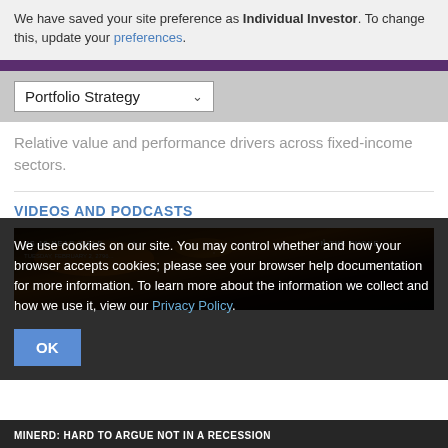We have saved your site preference as Individual Investor. To change this, update your preferences.
Portfolio Strategy
Relative value and performance drivers across fixed-income sectors.
VIDEOS AND PODCASTS
[Figure (screenshot): Video thumbnail showing financial data overlay with US 10-YEAR YIELD and ON THE PHONE labels, partially obscured by cookie consent overlay.]
We use cookies on our site. You may control whether and how your browser accepts cookies; please see your browser help documentation for more information. To learn more about the information we collect and how we use it, view our Privacy Policy.
OK
MINERD: HARD TO ARGUE NOT IN A RECESSION